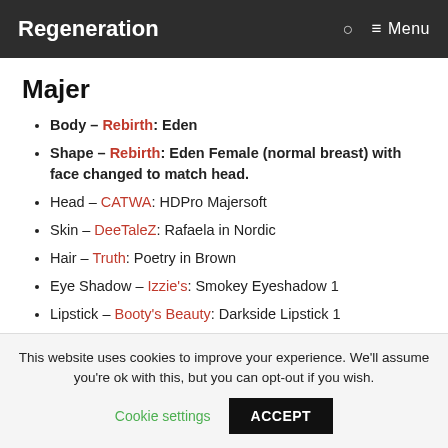Regeneration — Menu
Majer
Body – Rebirth: Eden
Shape – Rebirth: Eden Female (normal breast) with face changed to match head.
Head – CATWA: HDPro Majersoft
Skin – DeeTaleZ: Rafaela in Nordic
Hair – Truth: Poetry in Brown
Eye Shadow – Izzie's: Smokey Eyeshadow 1
Lipstick – Booty's Beauty: Darkside Lipstick 1
This website uses cookies to improve your experience. We'll assume you're ok with this, but you can opt-out if you wish.
Cookie settings   ACCEPT